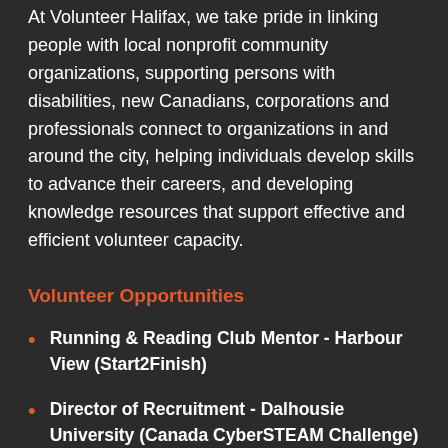At Volunteer Halifax, we take pride in linking people with local nonprofit community organizations, supporting persons with disabilities, new Canadians, corporations and professionals connect to organizations in and around the city, helping individuals develop skills to advance their careers, and developing knowledge resources that support effective and efficient volunteer capacity.
Volunteer Opportunities
Running & Reading Club Mentor - Harbour View (Start2Finish)
Director of Recruitment - Dalhousie University (Canada CyberSTEAM Challenge) (TeamUP Science Society)